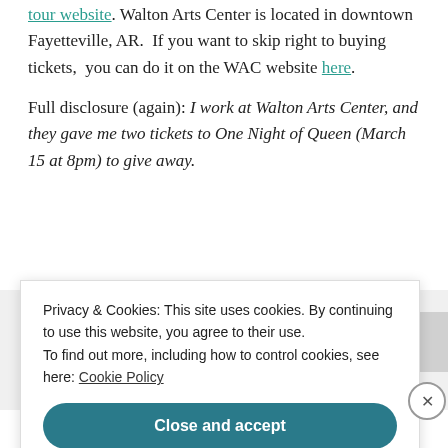tour website. Walton Arts Center is located in downtown Fayetteville, AR.  If you want to skip right to buying tickets,  you can do it on the WAC website here.
Full disclosure (again): I work at Walton Arts Center, and they gave me two tickets to One Night of Queen (March 15 at 8pm) to give away.
[Figure (other): Advertisements banner area with purple bar and gray box]
Privacy & Cookies: This site uses cookies. By continuing to use this website, you agree to their use.
To find out more, including how to control cookies, see here: Cookie Policy
Close and accept